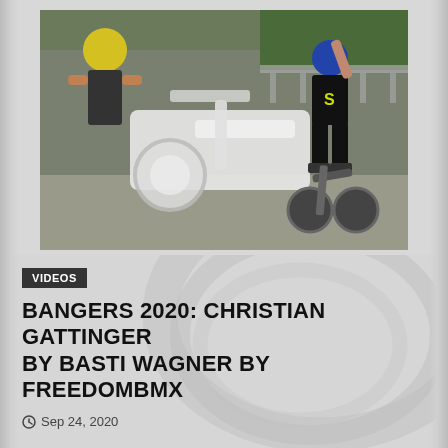[Figure (photo): Action sports photo showing a BMX rider performing a trick near a wall/ledge, with another person in a yellow helmet visible on the left. The scene is outdoors with greenery in the background.]
VIDEOS
BANGERS 2020: CHRISTIAN GATTINGER BY BASTI WAGNER BY FREEDOMBMX
Sep 24, 2020
BANGERS FREESTYLE FILM FESTIVAL 2020 – CHRISTIAN GATTINGER BY BASTI WAGNER